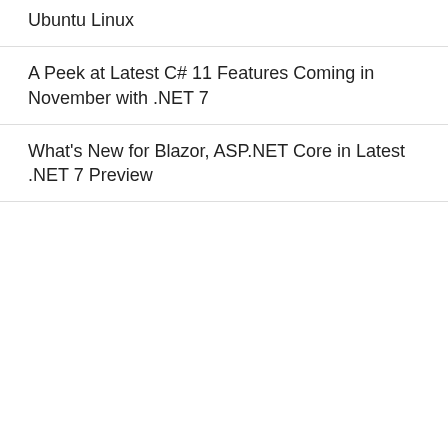Ubuntu Linux
A Peek at Latest C# 11 Features Coming in November with .NET 7
What's New for Blazor, ASP.NET Core in Latest .NET 7 Preview
[Figure (screenshot): Advertisement for Visual Studio LIVE! conference in San Diego 2022 with text 'REGISTER NOW!', 'SAN DIEGO 2022', 'DEVELOP YOUR CODING EDGE' on a green binary code background. Includes a 'MOST POPULAR' sidebar label on the left.]